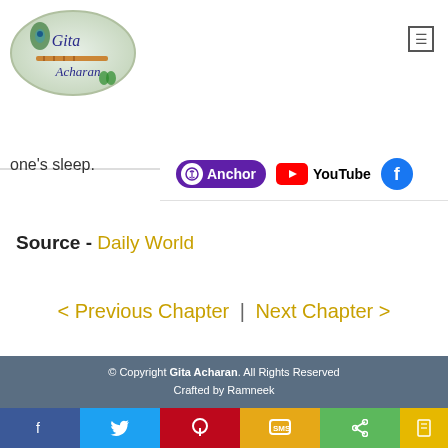[Figure (logo): Gita Acharan oval logo with peacock feather and flute]
one's sleep.
[Figure (infographic): Social media icons: Anchor, YouTube, Facebook]
Source - Daily World
< Previous Chapter | Next Chapter >
© Copyright Gita Acharan. All Rights Reserved
Crafted by Ramneek
[Figure (infographic): Bottom social sharing strip: Facebook, Twitter, Pinterest, SMS, Share, extra]